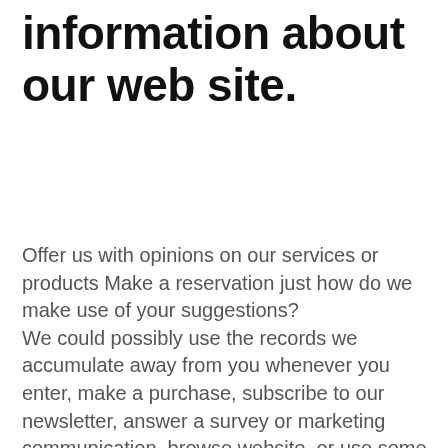information about our web site.
Offer us with opinions on our services or products Make a reservation just how do we make use of your suggestions? We could possibly use the records we accumulate away from you whenever you enter, make a purchase, subscribe to our newsletter, answer a survey or marketing communication, browse website, or use some various other web site functions for the after methods: • To improve all of our websites being best serve you. • permitting united states to higher solution your in replying to your own support service desires. • to manage a contest, promotion, research or any other site ability. • To ask for ratings and studies of